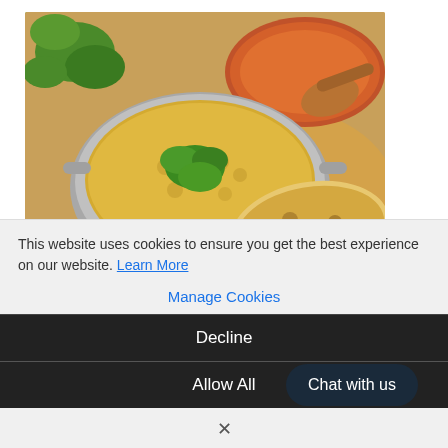[Figure (photo): Top-down photo of a metal pot of yellow lentil dal with fresh herbs, alongside naan bread on a wooden board, red lentils in a scoop, and spinach leaves]
Tofu or not tofu?
This website uses cookies to ensure you get the best experience on our website. Learn More
Manage Cookies
Decline
Allow All
Chat with us
×